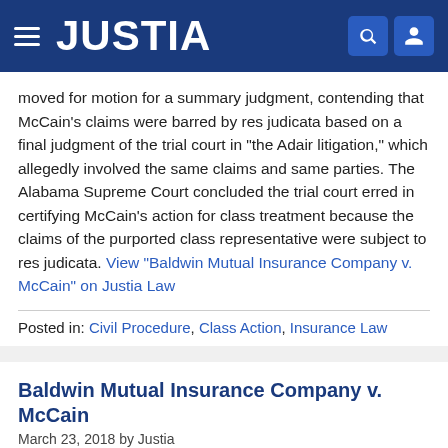JUSTIA
moved for motion for a summary judgment, contending that McCain's claims were barred by res judicata based on a final judgment of the trial court in "the Adair litigation," which allegedly involved the same claims and same parties. The Alabama Supreme Court concluded the trial court erred in certifying McCain's action for class treatment because the claims of the purported class representative were subject to res judicata. View "Baldwin Mutual Insurance Company v. McCain" on Justia Law
Posted in: Civil Procedure, Class Action, Insurance Law
Baldwin Mutual Insurance Company v. McCain
March 23, 2018 by Justia